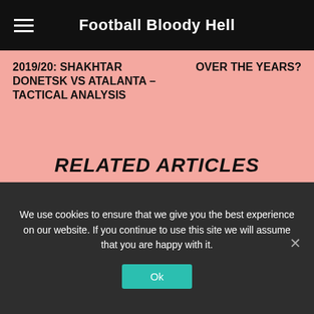Football Bloody Hell
2019/20: SHAKHTAR DONETSK VS ATALANTA – TACTICAL ANALYSIS
OVER THE YEARS?
RELATED ARTICLES
[Figure (photo): Football pitch aerial view with players, green grass, tactical analysis screenshot]
Analysis
EPL 20/21: CHELSEA VS ASTON VILLA – TACTICAL ANALYSIS
We use cookies to ensure that we give you the best experience on our website. If you continue to use this site we will assume that you are happy with it.